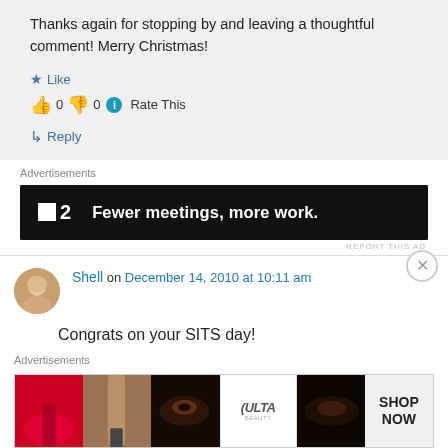Thanks again for stopping by and leaving a thoughtful comment! Merry Christmas!
Like
👍 0 👎 0 ℹ Rate This
↳ Reply
Advertisements
[Figure (screenshot): Dark advertisement banner: square logo with '2' and text 'Fewer meetings, more work.']
REPORT THIS AD
Shell on December 14, 2010 at 10:11 am
Congrats on your SITS day!
Advertisements
[Figure (screenshot): ULTA beauty advertisement banner with makeup images and 'SHOP NOW' text]